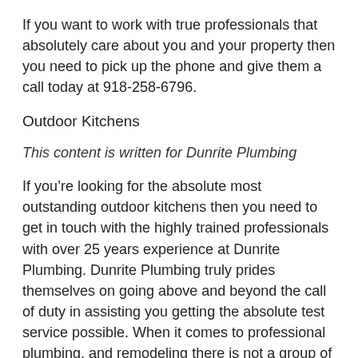If you want to work with true professionals that absolutely care about you and your property then you need to pick up the phone and give them a call today at 918-258-6796.
Outdoor Kitchens
This content is written for Dunrite Plumbing
If you're looking for the absolute most outstanding outdoor kitchens then you need to get in touch with the highly trained professionals with over 25 years experience at Dunrite Plumbing. Dunrite Plumbing truly prides themselves on going above and beyond the call of duty in assisting you getting the absolute test service possible. When it comes to professional plumbing, and remodeling there is not a group of professionals that do it better. If you want to have the party place that your friends and neighbors will be able to gravitate towards the knees professionals will be the ones that can do that for you. So stop what you're